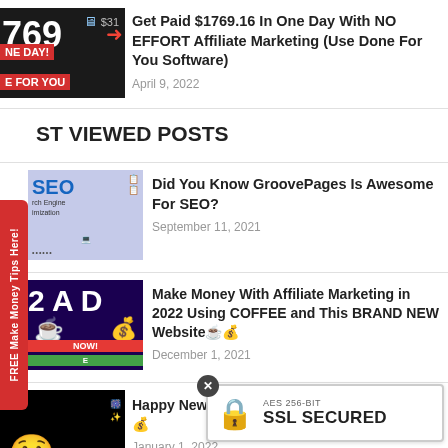[Figure (photo): Thumbnail showing '769 ONE DAY FOR YOU' text with red background and arrow graphic]
Get Paid $1769.16 In One Day With NO EFFORT Affiliate Marketing (Use Done For You Software)
April 9, 2022
ST VIEWED POSTS
[Figure (photo): Thumbnail showing SEO laptop image with 'SEO Search Engine Optimization' text]
Did You Know GroovePages Is Awesome For SEO?
September 11, 2021
[Figure (photo): Thumbnail showing '2 A D' with coffee cup and purple background]
Make Money With Affiliate Marketing in 2022 Using COFFEE and This BRAND NEW Website☕💰
December 1, 2021
[Figure (photo): Thumbnail showing man with surprised expression on dark background]
Happy New Year 2022!!! $130 GIVEAWAY!!! 💰💰
January 1, 2022
[Figure (other): SSL Secured badge with lock icon and AES 256-BIT SSL SECURED text]